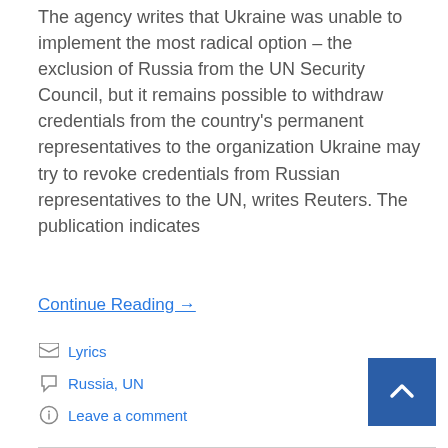The agency writes that Ukraine was unable to implement the most radical option – the exclusion of Russia from the UN Security Council, but it remains possible to withdraw credentials from the country's permanent representatives to the organization Ukraine may try to revoke credentials from Russian representatives to the UN, writes Reuters. The publication indicates
Continue Reading →
Lyrics
Russia, UN
Leave a comment